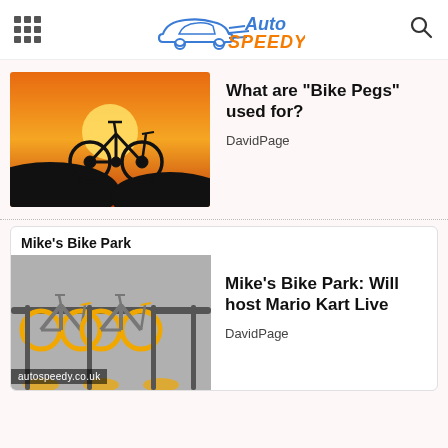Auto Speedy logo with navigation icons
What are “Bike Pegs” used for?
DavidPage
Mike’s Bike Park: Will host Mario Kart Live
DavidPage